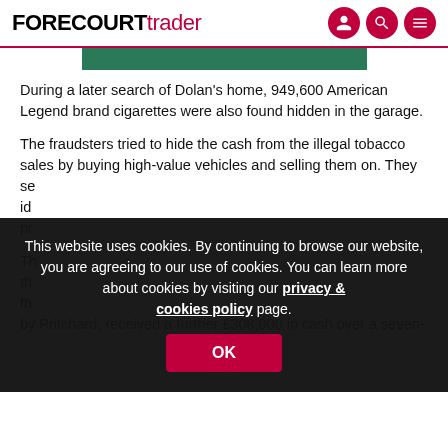FORECOURT trader
[Figure (photo): Green image strip (partial image of article)]
During a later search of Dolan’s home, 949,600 American Legend brand cigarettes were also found hidden in the garage.
The fraudsters tried to hide the cash from the illegal tobacco sales by buying high-value vehicles and selling them on. They se[...] id[...] pr[...]
[Figure (screenshot): Cookie consent overlay: This website uses cookies. By continuing to browse our website, you are agreeing to our use of cookies. You can learn more about cookies by visiting our privacy & cookies policy page. OK button.]
Th[...] th[...] th[...] by Pritchard, received a further £308,000 in cash over a seven-